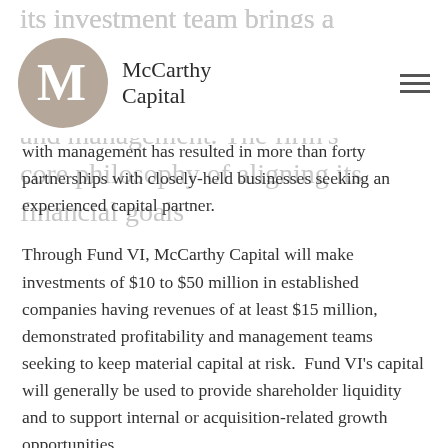McCarthy Capital
with management has resulted in more than forty partnerships with closely-held businesses seeking an experienced capital partner.
Through Fund VI, McCarthy Capital will make investments of $10 to $50 million in established companies having revenues of at least $15 million, demonstrated profitability and management teams seeking to keep material capital at risk.  Fund VI’s capital will generally be used to provide shareholder liquidity and to support internal or acquisition-related growth opportunities.
Bob Emmert, Managing Partner, added “Fund VI